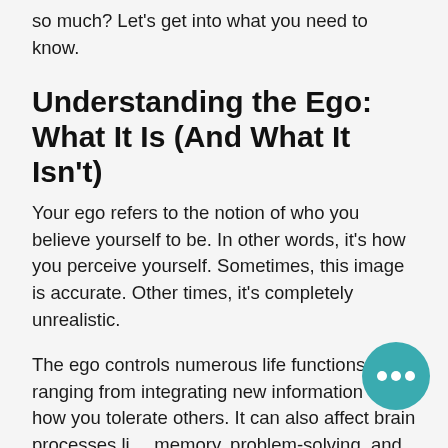so much? Let's get into what you need to know.
Understanding the Ego: What It Is (And What It Isn't)
Your ego refers to the notion of who you believe yourself to be. In other words, it's how you perceive yourself. Sometimes, this image is accurate. Other times, it's completely unrealistic.
The ego controls numerous life functions, ranging from integrating new information to how you tolerate others. It can also affect brain processes like memory, problem-solving, and impulse control.
[Figure (other): Teal circular floating action button with three white dots (ellipsis) in the bottom right corner of the page]